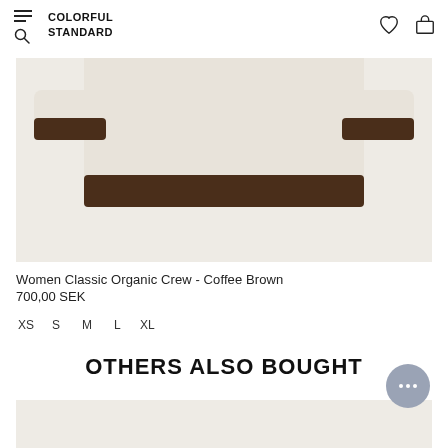COLORFUL STANDARD
[Figure (photo): Bottom portion of a cream/beige women's crewneck sweatshirt with coffee brown ribbed cuffs and hem band, displayed against a light beige background.]
Women Classic Organic Crew - Coffee Brown
700,00 SEK
XS
S
M
L
XL
OTHERS ALSO BOUGHT
[Figure (photo): Partially visible product image at the bottom of the page, light beige background.]